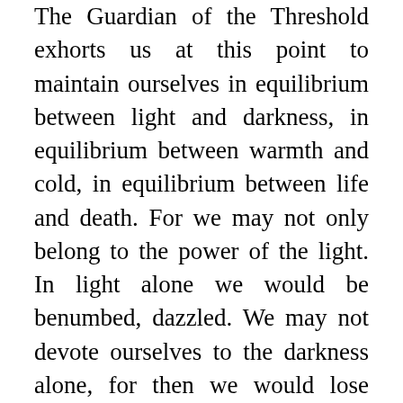The Guardian of the Threshold exhorts us at this point to maintain ourselves in equilibrium between light and darkness, in equilibrium between warmth and cold, in equilibrium between life and death. For we may not only belong to the power of the light. In light alone we would be benumbed, dazzled. We may not devote ourselves to the darkness alone, for then we would lose ourselves in the substance of darkness. We must strive for what is striven for in all the world.
    Wherever you look, my sisters and brothers, light and darkness intermingle. Look at your hair. The light plants it in your head. But it must be permeated with darkness, otherwise your hair would be entirely rays of light. Look at your